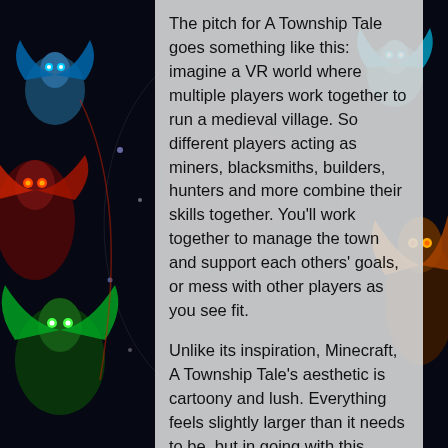[Figure (illustration): Dark fantasy/sci-fi background illustration with colorful creature characters on the left and right sides against a dark background with glowing lights]
The pitch for A Township Tale goes something like this: imagine a VR world where multiple players work together to run a medieval village. So different players acting as miners, blacksmiths, builders, hunters and more combine their skills together. You'll work together to manage the town and support each others' goals, or mess with other players as you see fit.
Unlike its inspiration, Minecraft, A Township Tale's aesthetic is cartoony and lush. Everything feels slightly larger than it needs to be, but in going with this stylistic choice, Australian developer Alta ensures the world  feels very clear and crisp on a VR headset.
A Township Tale is made by Sydney-based team for the HTC Vive, making full use of